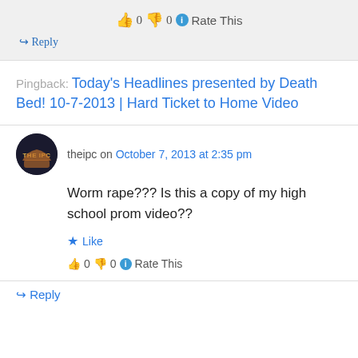👍 0 👎 0 ℹ Rate This
↪ Reply
Pingback: Today's Headlines presented by Death Bed! 10-7-2013 | Hard Ticket to Home Video
theipc on October 7, 2013 at 2:35 pm
Worm rape??? Is this a copy of my high school prom video??
★ Like
👍 0 👎 0 ℹ Rate This
↪ Reply